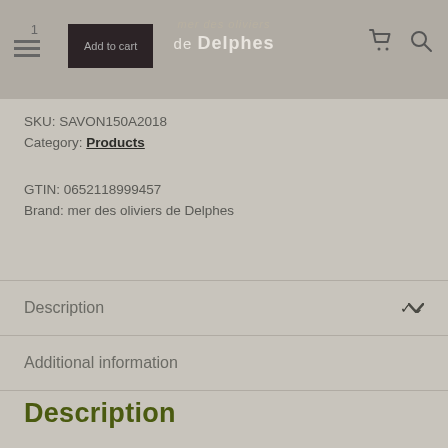mer des oliviers de Delphes — Add to cart
SKU: SAVON150A2018
Category: Products
GTIN: 0652118999457
Brand: mer des oliviers de Delphes
Description
Additional information
Description